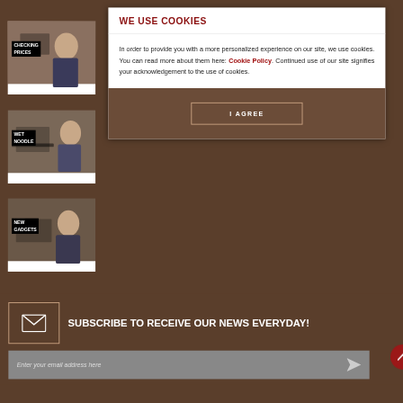[Figure (screenshot): Thumbnail 1: Video thumbnail labeled CHECKING PRICES showing person working with wood]
[Figure (screenshot): Thumbnail 2: Video thumbnail labeled WET NOODLE showing person in workshop]
[Figure (screenshot): Thumbnail 3: Video thumbnail labeled NEW GADGETS showing person with tools]
WE USE COOKIES
In order to provide you with a more personalized experience on our site, we use cookies. You can read more about them here: Cookie Policy. Continued use of our site signifies your acknowledgement to the use of cookies.
I AGREE
SUBSCRIBE TO RECEIVE OUR NEWS EVERYDAY!
Enter your email address here